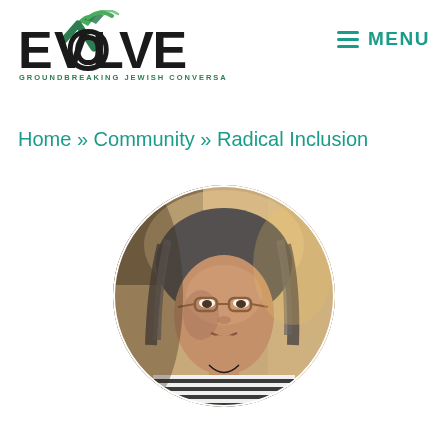[Figure (logo): Evolve: Groundbreaking Jewish Conversations logo with green checkmark/swoosh graphic]
≡ MENU
Home » Community » Radical Inclusion
[Figure (photo): Circular portrait photo of a middle-aged woman with gray-streaked hair wearing glasses and a black and white striped top]